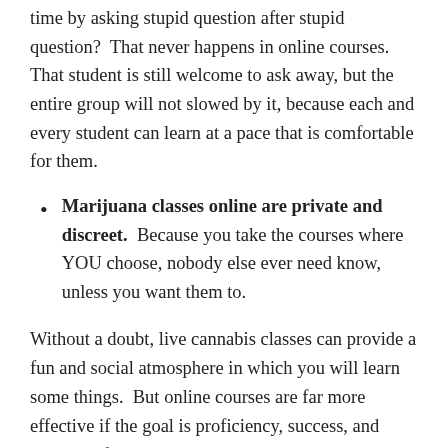time by asking stupid question after stupid question?  That never happens in online courses.  That student is still welcome to ask away, but the entire group will not slowed by it, because each and every student can learn at a pace that is comfortable for them.
Marijuana classes online are private and discreet.  Because you take the courses where YOU choose, nobody else ever need know, unless you want them to.
Without a doubt, live cannabis classes can provide a fun and social atmosphere in which you will learn some things.  But online courses are far more effective if the goal is proficiency, success, and mastery of a topic.
Check out all of Cannademy's online cannabis